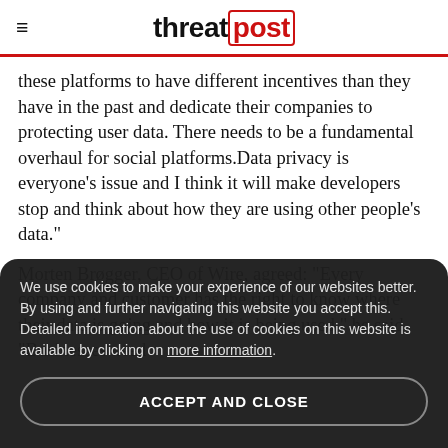threatpost
these platforms to have different incentives than they have in the past and dedicate their companies to protecting user data. There needs to be a fundamental overhaul for social platforms.Data privacy is everyone’s issue and I think it will make developers stop and think about how they are using other people’s data.”
Morten Brøgger, CEO of Wire, agreed: “Every company and customer has the right to know where their data is going and how it is being used,” he said. “Businesses need
We use cookies to make your experience of our websites better. By using and further navigating this website you accept this. Detailed information about the use of cookies on this website is available by clicking on more information.
ACCEPT AND CLOSE